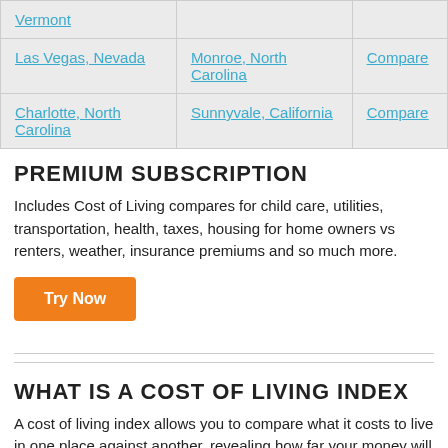| Vermont |  |  |
| Las Vegas, Nevada | Monroe, North Carolina | Compare |
| Charlotte, North Carolina | Sunnyvale, California | Compare |
PREMIUM SUBSCRIPTION
Includes Cost of Living compares for child care, utilities, transportation, health, taxes, housing for home owners vs renters, weather, insurance premiums and so much more.
Try Now
WHAT IS A COST OF LIVING INDEX
A cost of living index allows you to compare what it costs to live in one place against another, revealing how far your money will go in different areas. Scores are presented in